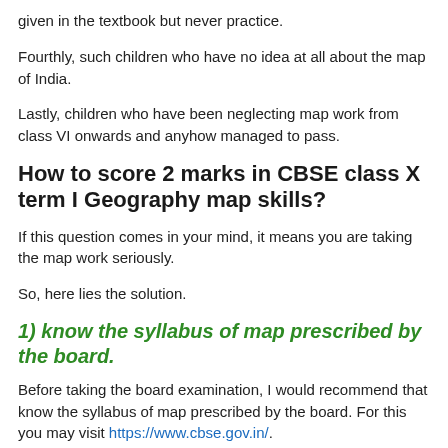given in the textbook but never practice.
Fourthly, such children who have no idea at all about the map of India.
Lastly, children who have been neglecting map work from class VI onwards and anyhow managed to pass.
How to score 2 marks in CBSE class X term I Geography map skills?
If this question comes in your mind, it means you are taking the map work seriously.
So, here lies the solution.
1) know the syllabus of map prescribed by the board.
Before taking the board examination, I would recommend that know the syllabus of map prescribed by the board. For this you may visit https://www.cbse.gov.in/.